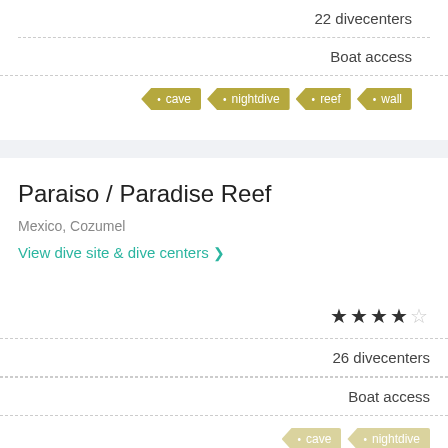22 divecenters
Boat access
cave  nightdive  reef  wall
Paraiso / Paradise Reef
Mexico, Cozumel
View dive site & dive centers ❯
★★★★☆
26 divecenters
Boat access